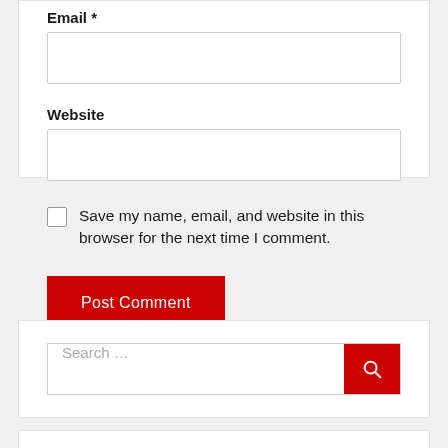Email *
Website
Save my name, email, and website in this browser for the next time I comment.
Post Comment
Search ...